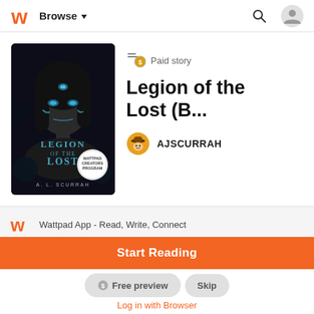Browse
[Figure (screenshot): Book cover for 'Legion of the Lost' by A.L. Scurrah — dark fantasy cover with a woman's face and blue glowing markings, Wattpad Creators Program badge]
Paid story
Legion of the Lost (B...
AJSCURRAH
Wattpad App - Read, Write, Connect
Start Reading
Free preview
Log in with Browser